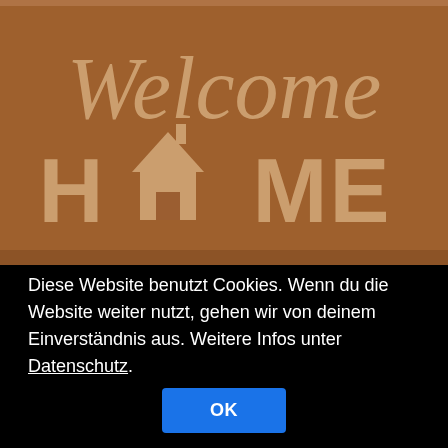[Figure (photo): A brown coir doormat with 'Welcome HOME' text embossed in lighter tan color. 'Welcome' is written in cursive script at the top, and 'HOME' appears in block letters below with a small house icon replacing the letter 'O'.]
Diese Website benutzt Cookies. Wenn du die Website weiter nutzt, gehen wir von deinem Einverständnis aus. Weitere Infos unter Datenschutz.
OK